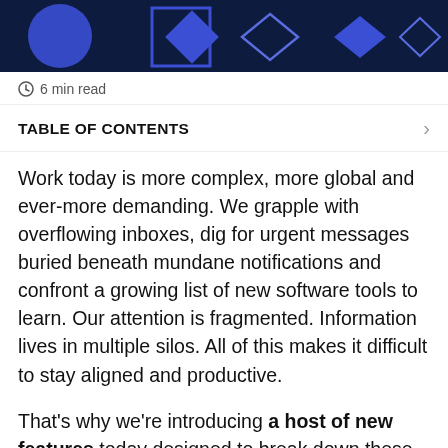[Figure (illustration): Dark navy banner with colorful geometric shapes: circles, diamonds, and square outlines in blue and purple tones]
🕐 6 min read
TABLE OF CONTENTS
Work today is more complex, more global and ever-more demanding. We grapple with overflowing inboxes, dig for urgent messages buried beneath mundane notifications and confront a growing list of new software tools to learn. Our attention is fragmented. Information lives in multiple silos. All of this makes it difficult to stay aligned and productive.
That's why we're introducing a host of new features today designed to break down these barriers and make it easier for organizations and employees to stay aligned and moving…